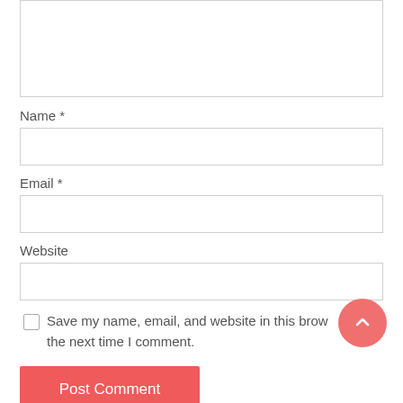[Figure (screenshot): Textarea input box (comment field), partially visible at top of page]
Name *
[Figure (screenshot): Name text input field]
Email *
[Figure (screenshot): Email text input field]
Website
[Figure (screenshot): Website text input field]
Save my name, email, and website in this browser for the next time I comment.
Post Comment